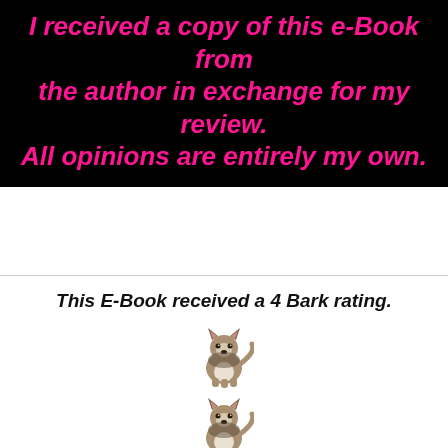I received a copy of this e-Book from the author in exchange for my review. All opinions are entirely my own.
This E-Book received a 4 Bark rating.
[Figure (illustration): Four husky/wolf dog icons stacked vertically representing a 4 Bark rating]